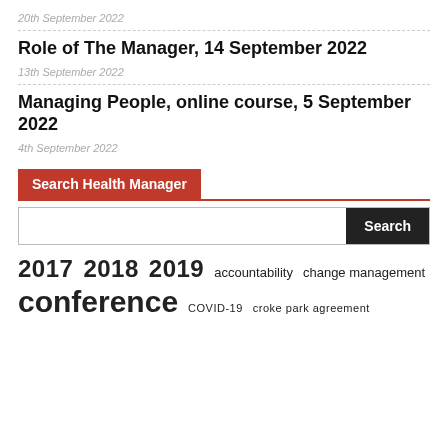20th September 2022
Role of The Manager, 14 September 2022
13th September 2022
Managing People, online course, 5 September 2022
4th September 2022
Search Health Manager
Search
2017  2018  2019  accountability  change management
conference  COVID-19  croke park agreement